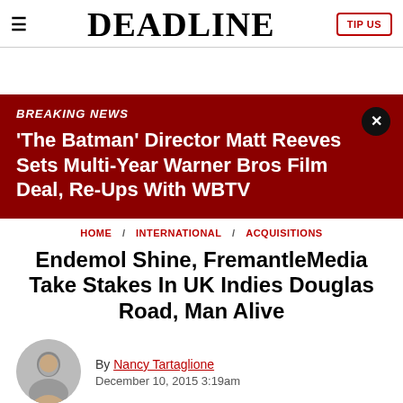DEADLINE
[Figure (other): Breaking news banner with headline: 'The Batman' Director Matt Reeves Sets Multi-Year Warner Bros Film Deal, Re-Ups With WBTV]
HOME / INTERNATIONAL / ACQUISITIONS
Endemol Shine, FremantleMedia Take Stakes In UK Indies Douglas Road, Man Alive
By Nancy Tartaglione
December 10, 2015 3:19am